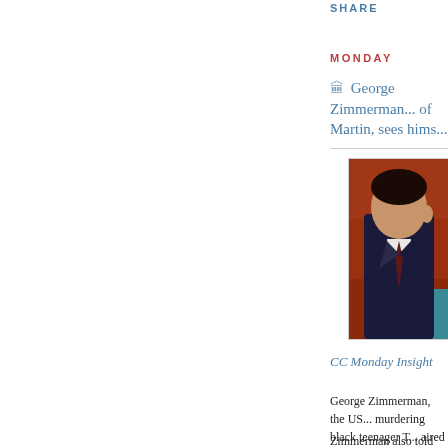SHARE
MONDAY
George Zimmerman... of Martin, sees hims...
[Figure (photo): Photograph of George Zimmerman in a dark suit, seated, with a reddish-brown background and teal/blue element visible]
CC Monday Insight
George Zimmerman, the US... murdering black teenager T... aired Monday that he is not
Zimmerman also told CNN